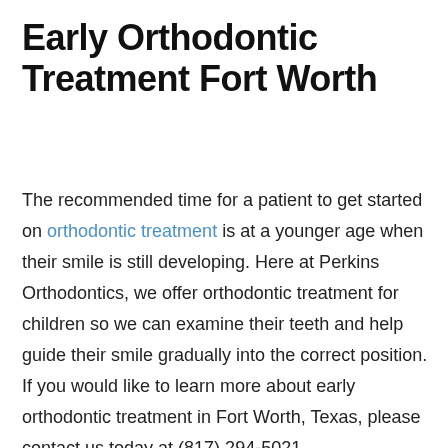Early Orthodontic Treatment Fort Worth
The recommended time for a patient to get started on orthodontic treatment is at a younger age when their smile is still developing. Here at Perkins Orthodontics, we offer orthodontic treatment for children so we can examine their teeth and help guide their smile gradually into the correct position. If you would like to learn more about early orthodontic treatment in Fort Worth, Texas, please contact us today at (817) 294-5021